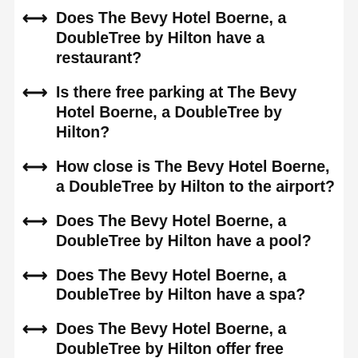Does The Bevy Hotel Boerne, a DoubleTree by Hilton have a restaurant?
Is there free parking at The Bevy Hotel Boerne, a DoubleTree by Hilton?
How close is The Bevy Hotel Boerne, a DoubleTree by Hilton to the airport?
Does The Bevy Hotel Boerne, a DoubleTree by Hilton have a pool?
Does The Bevy Hotel Boerne, a DoubleTree by Hilton have a spa?
Does The Bevy Hotel Boerne, a DoubleTree by Hilton offer free breakfast?
What time is check-in at The Bevy Hotel Boerne, a DoubleTree by Hilton?